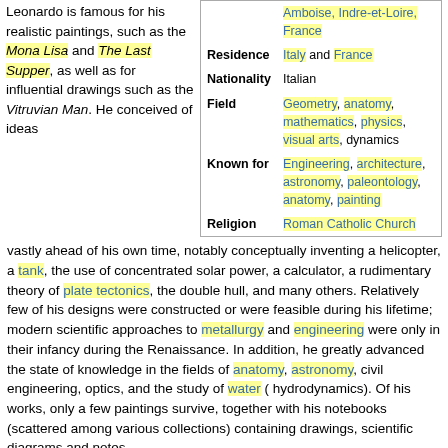Leonardo is famous for his realistic paintings, such as the Mona Lisa and The Last Supper, as well as for influential drawings such as the Vitruvian Man. He conceived of ideas
|  |  |
| --- | --- |
|  | Amboise, Indre-et-Loire, France |
| Residence | Italy and France |
| Nationality | Italian |
| Field | Geometry, anatomy, mathematics, physics, visual arts, dynamics |
| Known for | Engineering, architecture, astronomy, paleontology, anatomy, painting |
| Religion | Roman Catholic Church |
vastly ahead of his own time, notably conceptually inventing a helicopter, a tank, the use of concentrated solar power, a calculator, a rudimentary theory of plate tectonics, the double hull, and many others. Relatively few of his designs were constructed or were feasible during his lifetime; modern scientific approaches to metallurgy and engineering were only in their infancy during the Renaissance. In addition, he greatly advanced the state of knowledge in the fields of anatomy, astronomy, civil engineering, optics, and the study of water ( hydrodynamics). Of his works, only a few paintings survive, together with his notebooks (scattered among various collections) containing drawings, scientific diagrams and notes.
Leonardo had no surname in the modern sense; "da Vinci" simply means "from Vinci". His full birth name was "Leonardo di ser Piero da Vinci", meaning "Leonardo, son of (Mes)ser Piero from Vinci."